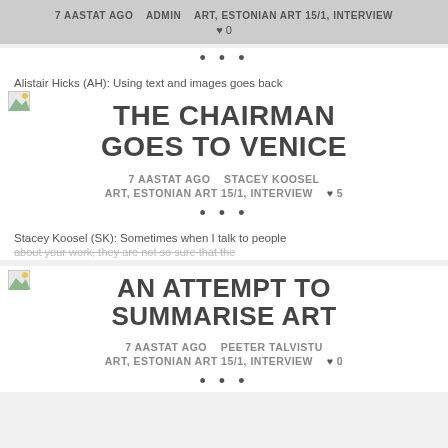7 AASTAT AGO   ADMIN   ART, ESTONIAN ART 15/1, INTERVIEW   ♥ 0
• • •
Alistair Hicks (AH): Using text and images goes back
THE CHAIRMAN GOES TO VENICE
7 AASTAT AGO   STACEY KOOSEL
ART, ESTONIAN ART 15/1, INTERVIEW   ♥ 5
• • •
Stacey Koosel (SK): Sometimes when I talk to people
about your work, they are not so sure that the
AN ATTEMPT TO SUMMARISE ART
7 AASTAT AGO   PEETER TALVISTU
ART, ESTONIAN ART 15/1, INTERVIEW   ♥ 0
• • •